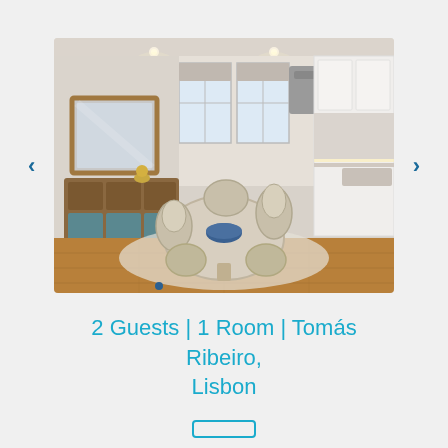[Figure (photo): Interior photo of a modern apartment dining area with a round table and chairs, vintage dresser with mirror, open-plan kitchen with white cabinets, hardwood floor, and natural light from windows. Navigation arrows on left and right sides. Dot indicator at bottom center.]
2 Guests  |  1 Room  |  Tomás Ribeiro, Lisbon